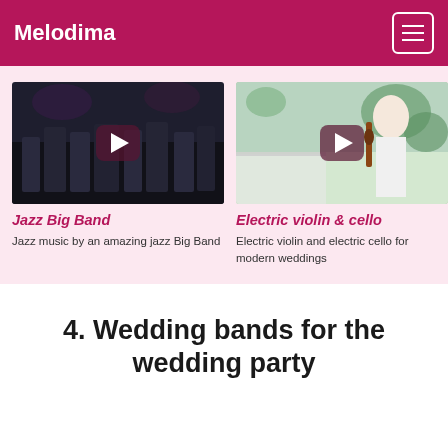Melodima
[Figure (photo): Jazz Big Band musicians performing on stage, dark background, multiple musicians with instruments]
Jazz Big Band
Jazz music by an amazing jazz Big Band
[Figure (photo): Woman playing electric violin at an outdoor wedding reception, bright natural light]
Electric violin & cello
Electric violin and electric cello for modern weddings
4. Wedding bands for the wedding party